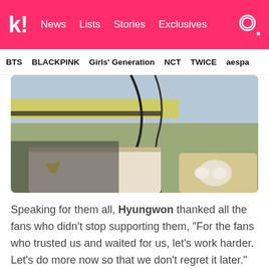kl News Lists Stories Exclusives
BTS  BLACKPINK  Girls' Generation  NCT  TWICE  aespa
[Figure (photo): Close-up photo of a person in a yellow-striped jacket, with headphone cables and what appears to be a book/binder and an earphone case visible]
Speaking for them all, Hyungwon thanked all the fans who didn't stop supporting them, “For the fans who trusted us and waited for us, let’s work harder. Let’s do more now so that we don’t regret it later.”
[Figure (photo): Bottom portion of another photo, showing a dark background, partially visible]